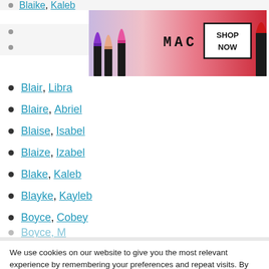Blaike, Kaleb (partial, top)
[Figure (photo): MAC Cosmetics ad banner showing purple, peach, and pink lipsticks with MAC logo and SHOP NOW button]
Blair, Libra
Blaire, Abriel
Blaise, Isabel
Blaize, Izabel
Blake, Kaleb
Blayke, Kayleb
Boyce, Cobey
Boyce... (partial, bottom)
We use cookies on our website to give you the most relevant experience by remembering your preferences and repeat visits. By clicking “Accept”, you consent to the use of ALL the cookies.
Do not sell my personal information.
CLOSE
[Figure (photo): MAC Cosmetics ad banner (bottom) showing purple, peach, and pink lipsticks with MAC logo and SHOP NOW button]